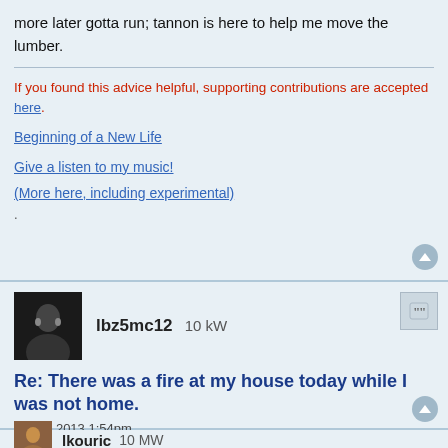more later gotta run; tannon is here to help me move the lumber.
If you found this advice helpful, supporting contributions are accepted here.
Beginning of a New Life
Give a listen to my music!
(More here, including experimental)
.
lbz5mc12   10 kW
Re: There was a fire at my house today while I was not home.
Apr 28 2013 1:54pm
Man I'm just glad you have such an awesome landlord. I've met a few in my time that would've complained about doing the bare minimum to help.
lkouric   10 MW